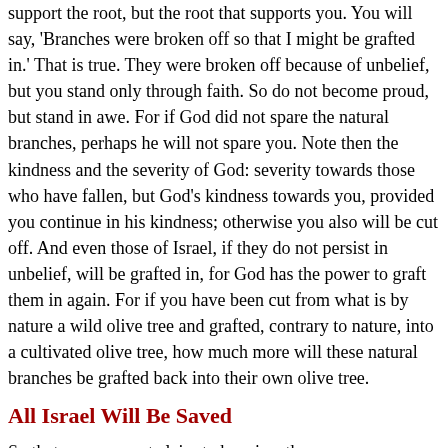support the root, but the root that supports you. You will say, 'Branches were broken off so that I might be grafted in.' That is true. They were broken off because of unbelief, but you stand only through faith. So do not become proud, but stand in awe. For if God did not spare the natural branches, perhaps he will not spare you. Note then the kindness and the severity of God: severity towards those who have fallen, but God's kindness towards you, provided you continue in his kindness; otherwise you also will be cut off. And even those of Israel, if they do not persist in unbelief, will be grafted in, for God has the power to graft them in again. For if you have been cut from what is by nature a wild olive tree and grafted, contrary to nature, into a cultivated olive tree, how much more will these natural branches be grafted back into their own olive tree.
All Israel Will Be Saved
So that you may not claim to be wiser than you are, brothers and sisters, I want you to understand this mystery: a hardening has come upon part of Israel, until the full number of the Gentiles has come in. And so all Israel will be saved; as it is written,
'Out of Zion will come the Deliverer;
   he will banish ungodliness from Jacob.'
'And this is my covenant with them,
   when I take away their sins.'